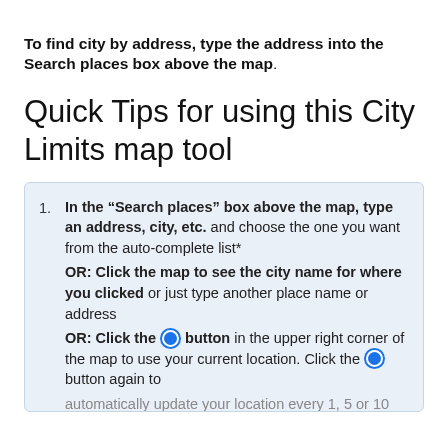To find city by address, type the address into the Search places box above the map.
Quick Tips for using this City Limits map tool
In the “Search places” box above the map, type an address, city, etc. and choose the one you want from the auto-complete list* OR: Click the map to see the city name for where you clicked or just type another place name or address OR: Click the [button] button in the upper right corner of the map to use your current location. Click the [button] button again to automatically update your location every 1, 5 or 10 minutes (Monthly Contributors also